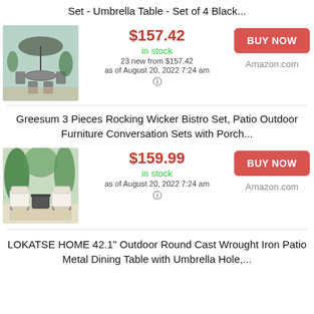Set - Umbrella Table - Set of 4 Black...
[Figure (photo): Outdoor patio dining set with umbrella table and chairs]
$157.42 in stock 23 new from $157.42 as of August 20, 2022 7:24 am
BUY NOW Amazon.com
Greesum 3 Pieces Rocking Wicker Bistro Set, Patio Outdoor Furniture Conversation Sets with Porch...
[Figure (photo): Outdoor rocking wicker bistro set with two chairs and small table]
$159.99 in stock as of August 20, 2022 7:24 am
BUY NOW Amazon.com
LOKATSE HOME 42.1" Outdoor Round Cast Wrought Iron Patio Metal Dining Table with Umbrella Hole,...